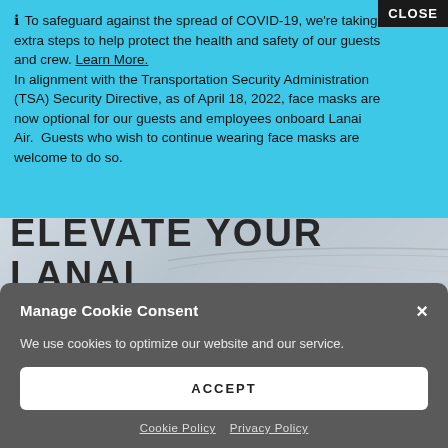ⓘ To safeguard against the spread of COVID-19, we're taking extra steps to help protect the health and safety of our guests and crew. Learn More. In alignment with the Transportation Security Administration (TSA) Security Directive, as of April 18, 2022, face masks are now optional for our guests and employees onboard Lanai Air. Guests who wish to continue wearing face masks are welcome to do so.
[Figure (screenshot): Hero image of airplane with large overlaid text reading ELEVATE YOUR LANAI EXPERIENCE.]
Manage Cookie Consent
We use cookies to optimize our website and our service.
ACCEPT
Cookie Policy   Privacy Policy